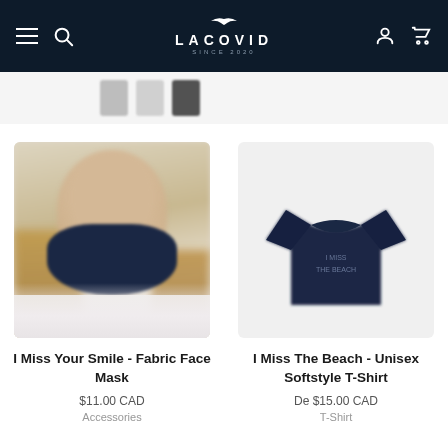LACOVID — SINCE 2020 — navigation bar with hamburger menu, search, account, and cart icons
[Figure (photo): Partial thumbnail strip showing small product images including grey, white and dark shirts]
[Figure (photo): Product photo of a woman wearing a dark navy fabric face mask, face blurred]
I Miss Your Smile - Fabric Face Mask
$11.00 CAD
Accessories
[Figure (photo): Product photo of a dark navy unisex softstyle t-shirt with text on chest]
I Miss The Beach - Unisex Softstyle T-Shirt
De $15.00 CAD
T-Shirt